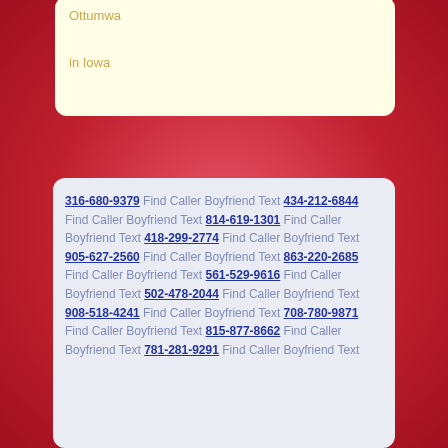Ottumwa

in Iowa
316-680-9379 Find Caller Boyfriend Text 434-212-6844 Find Caller Boyfriend Text 814-619-1301 Find Caller Boyfriend Text 418-299-2774 Find Caller Boyfriend Text 905-627-2560 Find Caller Boyfriend Text 863-220-2685 Find Caller Boyfriend Text 561-529-9616 Find Caller Boyfriend Text 502-478-2044 Find Caller Boyfriend Text 908-518-4241 Find Caller Boyfriend Text 708-780-9871 Find Caller Boyfriend Text 815-877-8662 Find Caller Boyfriend Text 781-281-9291 Find Caller Boyfriend Text